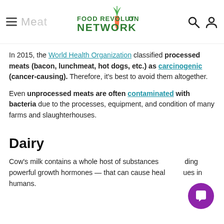Food Revolution Network
In 2015, the World Health Organization classified processed meats (bacon, lunchmeat, hot dogs, etc.) as carcinogenic (cancer-causing). Therefore, it's best to avoid them altogether.
Even unprocessed meats are often contaminated with bacteria due to the processes, equipment, and condition of many farms and slaughterhouses.
Dairy
Cow's milk contains a whole host of substances including powerful growth hormones — that can cause health issues in humans.